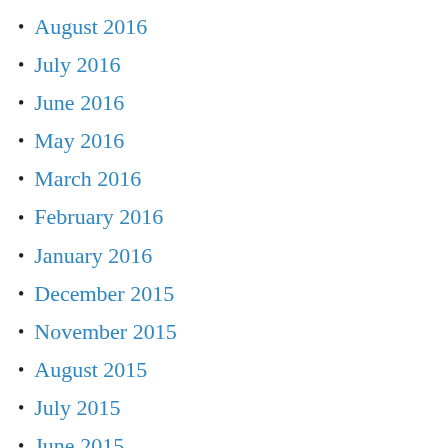August 2016
July 2016
June 2016
May 2016
March 2016
February 2016
January 2016
December 2015
November 2015
August 2015
July 2015
June 2015
May 2015
April 2015
March 2015
February 2015